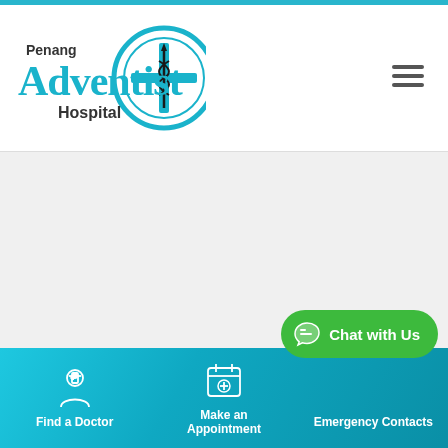[Figure (logo): Penang Adventist Hospital logo with circular cross emblem and doctor's rod symbol, text reading Penang Adventist Hospital in blue and black]
[Figure (other): Hamburger menu icon (three horizontal lines) in top right of header]
[Figure (other): Large white/light gray blank content area below header, likely a banner image area]
[Figure (other): Green rounded chat button with chat bubble icon and text 'Chat with Us']
MDT for Upper Gastrointestinal
[Figure (infographic): Teal/cyan gradient footer bar with three icon+label items: Find a Doctor (doctor icon), Make an Appointment (calendar icon), Emergency Contacts (no icon visible)]